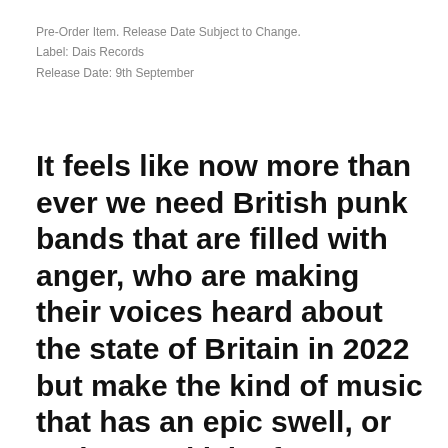Pre-Order Item. Release Date Subject to Change.
Label: Dais Records
Release Date: 9th September
It feels like now more than ever we need British punk bands that are filled with anger, who are making their voices heard about the state of Britain in 2022 but make the kind of music that has an epic swell, or an instant kick of new wave pop whilst keeping to an underground hardcore punk root. High Vis are the kind of band it's hard not to be passionate about, they're speaking about a life many are experiencing and there's